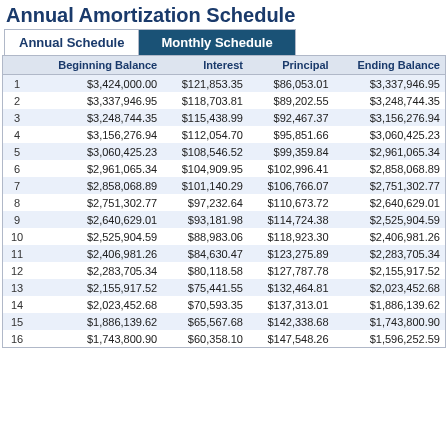Annual Amortization Schedule
|  | Beginning Balance | Interest | Principal | Ending Balance |
| --- | --- | --- | --- | --- |
| 1 | $3,424,000.00 | $121,853.35 | $86,053.01 | $3,337,946.95 |
| 2 | $3,337,946.95 | $118,703.81 | $89,202.55 | $3,248,744.35 |
| 3 | $3,248,744.35 | $115,438.99 | $92,467.37 | $3,156,276.94 |
| 4 | $3,156,276.94 | $112,054.70 | $95,851.66 | $3,060,425.23 |
| 5 | $3,060,425.23 | $108,546.52 | $99,359.84 | $2,961,065.34 |
| 6 | $2,961,065.34 | $104,909.95 | $102,996.41 | $2,858,068.89 |
| 7 | $2,858,068.89 | $101,140.29 | $106,766.07 | $2,751,302.77 |
| 8 | $2,751,302.77 | $97,232.64 | $110,673.72 | $2,640,629.01 |
| 9 | $2,640,629.01 | $93,181.98 | $114,724.38 | $2,525,904.59 |
| 10 | $2,525,904.59 | $88,983.06 | $118,923.30 | $2,406,981.26 |
| 11 | $2,406,981.26 | $84,630.47 | $123,275.89 | $2,283,705.34 |
| 12 | $2,283,705.34 | $80,118.58 | $127,787.78 | $2,155,917.52 |
| 13 | $2,155,917.52 | $75,441.55 | $132,464.81 | $2,023,452.68 |
| 14 | $2,023,452.68 | $70,593.35 | $137,313.01 | $1,886,139.62 |
| 15 | $1,886,139.62 | $65,567.68 | $142,338.68 | $1,743,800.90 |
| 16 | $1,743,800.90 | $60,358.10 | $147,548.26 | $1,596,252.59 |